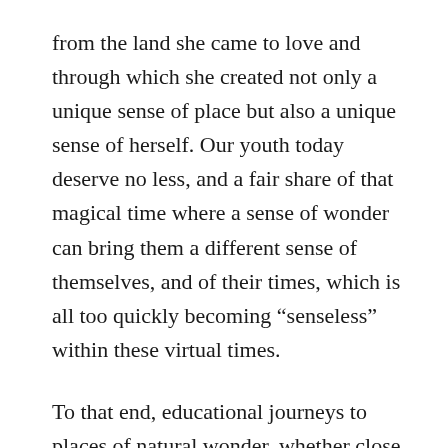from the land she came to love and through which she created not only a unique sense of place but also a unique sense of herself. Our youth today deserve no less, and a fair share of that magical time where a sense of wonder can bring them a different sense of themselves, and of their times, which is all too quickly becoming “senseless” within these virtual times.
To that end, educational journeys to places of natural wonder, whether close at hand or to faraway places, provide a destination as well as a purpose, becoming holidays for the Soul. The need of having both knowledge and experiences in order that learning can take place can be acknowledged by the seemingly mystical abilities of Carson & Potter which rested on